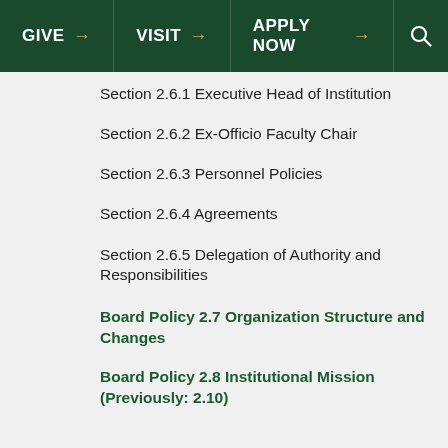GIVE → VISIT → APPLY NOW →
Section 2.6.1 Executive Head of Institution
Section 2.6.2 Ex-Officio Faculty Chair
Section 2.6.3 Personnel Policies
Section 2.6.4 Agreements
Section 2.6.5 Delegation of Authority and Responsibilities
Board Policy 2.7 Organization Structure and Changes
Board Policy 2.8 Institutional Mission (Previously: 2.10)